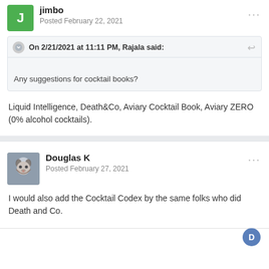jimbo
Posted February 22, 2021
On 2/21/2021 at 11:11 PM, Rajala said:
Any suggestions for cocktail books?
Liquid Intelligence, Death&Co, Aviary Cocktail Book, Aviary ZERO (0% alcohol cocktails).
Douglas K
Posted February 27, 2021
I would also add the Cocktail Codex by the same folks who did Death and Co.